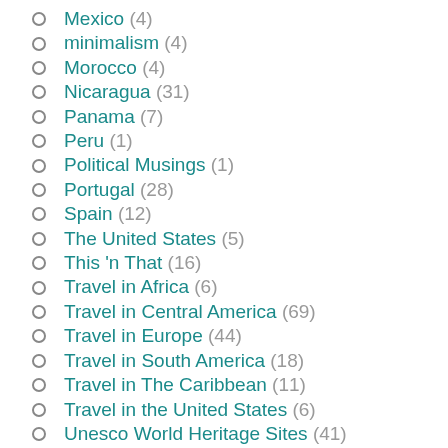Mexico (4)
minimalism (4)
Morocco (4)
Nicaragua (31)
Panama (7)
Peru (1)
Political Musings (1)
Portugal (28)
Spain (12)
The United States (5)
This 'n That (16)
Travel in Africa (6)
Travel in Central America (69)
Travel in Europe (44)
Travel in South America (18)
Travel in The Caribbean (11)
Travel in the United States (6)
Unesco World Heritage Sites (41)
US Expats in Portugal (28)